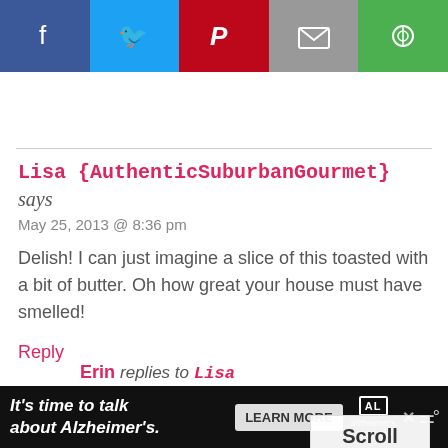[Figure (other): Social sharing bar with Facebook, Twitter, Pinterest, Email, and Google+ buttons]
Lisa {AuthenticSuburbanGourmet} says
May 25, 2013 @ 8:36 pm
Delish! I can just imagine a slice of this toasted with a bit of butter. Oh how great your house must have smelled!
Reply
Erin replies to Lisa {AuthenticSuburbanGourmet}
May 28, 2013 @ 2:41 pm
Ooooh... how about with butter and cinnamon sugar?! YES! :D
Scroll
to
top
It's time to talk about Alzheimer's.